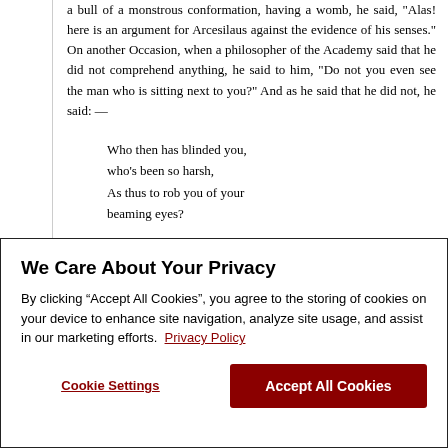a bull of a monstrous conformation, having a womb, he said, "Alas! here is an argument for Arcesilaus against the evidence of his senses." On another Occasion, when a philosopher of the Academy said that he did not comprehend anything, he said to him, "Do not you even see the man who is sitting next to you?" And as he said that he did not, he said: —
Who then has blinded you, who's been so harsh,
As thus to rob you of your beaming eyes?
We Care About Your Privacy
By clicking “Accept All Cookies”, you agree to the storing of cookies on your device to enhance site navigation, analyze site usage, and assist in our marketing efforts. Privacy Policy